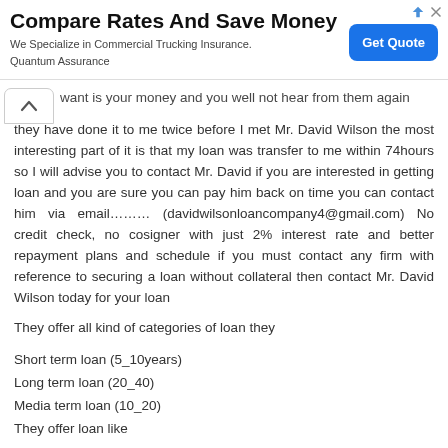[Figure (screenshot): Advertisement banner: 'Compare Rates And Save Money' - We Specialize in Commercial Trucking Insurance. Quantum Assurance. Blue 'Get Quote' button on the right. Arrow icons top right.]
want is your money and you well not hear from them again they have done it to me twice before I met Mr. David Wilson the most interesting part of it is that my loan was transfer to me within 74hours so I will advise you to contact Mr. David if you are interested in getting loan and you are sure you can pay him back on time you can contact him via email……… (davidwilsonloancompany4@gmail.com) No credit check, no cosigner with just 2% interest rate and better repayment plans and schedule if you must contact any firm with reference to securing a loan without collateral then contact Mr. David Wilson today for your loan
They offer all kind of categories of loan they
Short term loan (5_10years)
Long term loan (20_40)
Media term loan (10_20)
They offer loan like